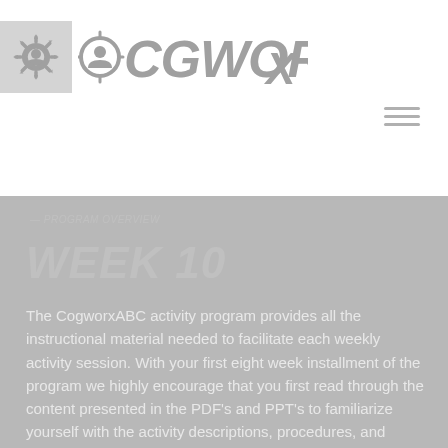[Figure (logo): CogworX logo with gear and head icon on left, stylized COGWORX text]
WEEK 10
The CogworxABC activity program provides all the instructional material needed to facilitate each weekly activity session. With your first eight week installment of the program we highly encourage that you first read through the content presented in the PDF's and PPT's to familiarize yourself with the activity descriptions, procedures, and materials. Subsequent sessions are delivered in four week installments.